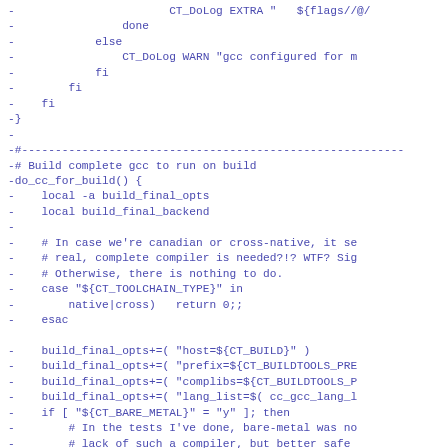Diff/patch code snippet showing shell script lines with gcc build configuration for do_cc_for_build function